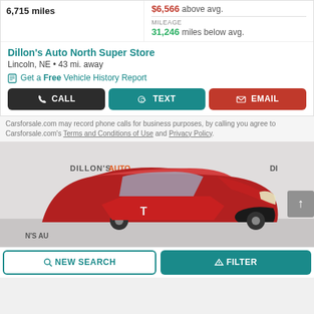6,715 miles
$6,566 above avg.
MILEAGE
31,246 miles below avg.
Dillon's Auto North Super Store
Lincoln, NE • 43 mi. away
Get a Free Vehicle History Report
CALL
TEXT
EMAIL
Carsforsale.com may record phone calls for business purposes, by calling you agree to Carsforsale.com's Terms and Conditions of Use and Privacy Policy.
[Figure (photo): Red Tesla Model X in Dillon's Auto dealership showroom with white walls and DILLON'S AUTO logo visible in background]
NEW SEARCH
FILTER